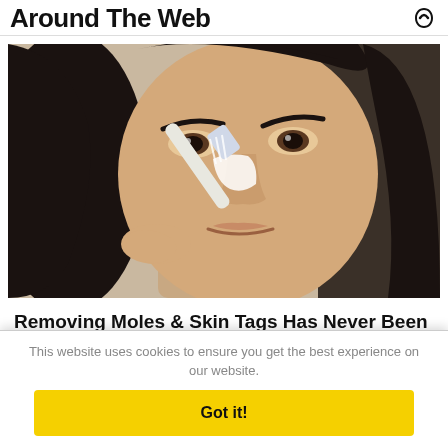Around The Web
[Figure (photo): Close-up photo of a young woman with dark hair applying something to her nose with a toothbrush or applicator tool. White cream/substance is visible on her nose.]
Removing Moles & Skin Tags Has Never Been This Easy
This website uses cookies to ensure you get the best experience on our website.
Got it!